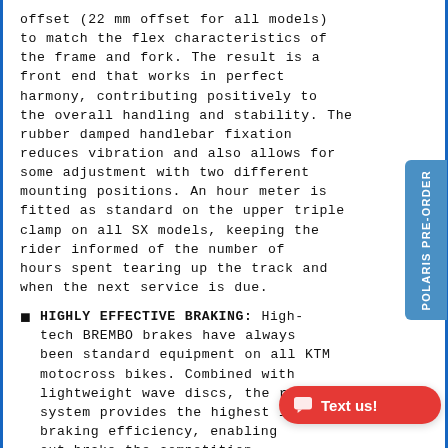offset (22 mm offset for all models) to match the flex characteristics of the frame and fork. The result is a front end that works in perfect harmony, contributing positively to the overall handling and stability. The rubber damped handlebar fixation reduces vibration and also allows for some adjustment with two different mounting positions. An hour meter is fitted as standard on the upper triple clamp on all SX models, keeping the rider informed of the number of hours spent tearing up the track and when the next service is due.
HIGHLY EFFECTIVE BRAKING: High-tech BREMBO brakes have always been standard equipment on all KTM motocross bikes. Combined with lightweight wave discs, the renowned system provides the highest level of braking efficiency, enabling out-brake the competition.
SHAPED FOR MOBILITY FUEL TANK: